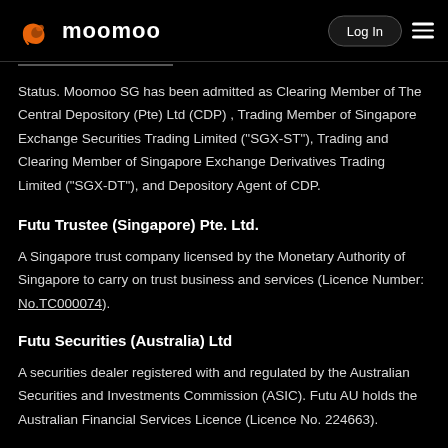moomoo | Log In
Status. Moomoo SG has been admitted as Clearing Member of The Central Depository (Pte) Ltd (CDP) , Trading Member of Singapore Exchange Securities Trading Limited ("SGX-ST"), Trading and Clearing Member of Singapore Exchange Derivatives Trading Limited ("SGX-DT"), and Depository Agent of CDP.
Futu Trustee (Singapore) Pte. Ltd.
A Singapore trust company licensed by the Monetary Authority of Singapore to carry on trust business and services (Licence Number: No.TC000074).
Futu Securities (Australia) Ltd
A securities dealer registered with and regulated by the Australian Securities and Investments Commission (ASIC). Futu AU holds the Australian Financial Services Licence (Licence No. 224663).